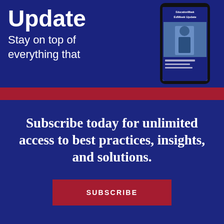[Figure (screenshot): Blue banner with large bold text 'Update', subtitle 'Stay on top of everything that', and a phone mockup showing EdWeek Update app on the right side]
1 Free Article(s) Left
Create a free account to get more features and free newsletters. SUBSCRIBE FOR UNLIMITED ACCESS
collapse
Subscribe today for unlimited access to best practices, insights, and solutions.
SUBSCRIBE